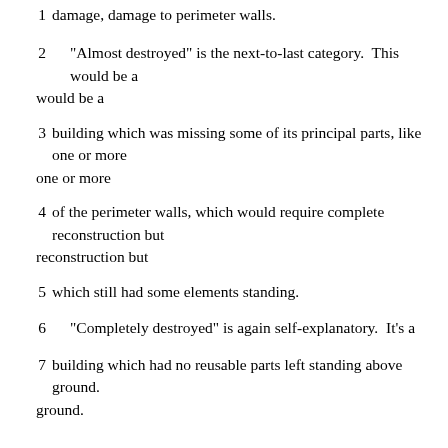1    damage, damage to perimeter walls.
2        "Almost destroyed" is the next-to-last category.  This would be a
3    building which was missing some of its principal parts, like one or more
4    of the perimeter walls, which would require complete reconstruction but
5    which still had some elements standing.
6        "Completely destroyed" is again self-explanatory.  It's a
7    building which had no reusable parts left standing above ground.